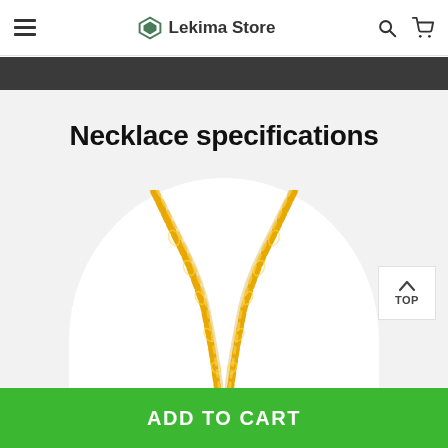Lekima Store
Necklace specifications
[Figure (photo): Gold chain necklace photographed from above, showing two strands of twisted gold chain meeting at a central clasp/pendant, displayed on a white circular background.]
ADD TO CART